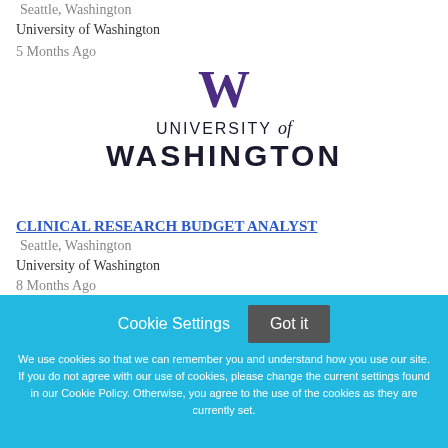Seattle, Washington
University of Washington
5 Months Ago
[Figure (logo): University of Washington logo: bold purple W above 'UNIVERSITY of WASHINGTON' text]
CLINICAL RESEARCH BUDGET ANALYST
Seattle, Washington
University of Washington
8 Months Ago
Cookie Settings
Got it
We use cookies so that we can remember you and understand how you use our site. If you do not agree with our use of cookies, please change the current settings found in our Cookie Policy. Otherwise, you agree to the use of the cookies as they are currently set.